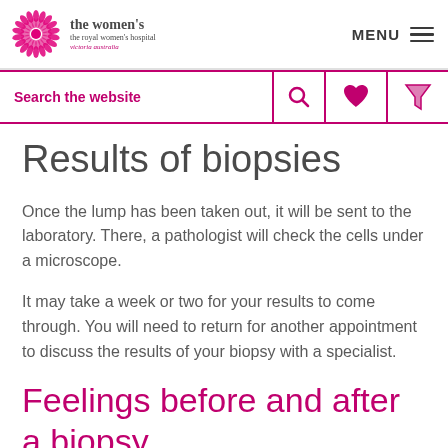the women's the royal women's hospital victoria australia | MENU
Search the website
Results of biopsies
Once the lump has been taken out, it will be sent to the laboratory. There, a pathologist will check the cells under a microscope.
It may take a week or two for your results to come through. You will need to return for another appointment to discuss the results of your biopsy with a specialist.
Feelings before and after a biopsy